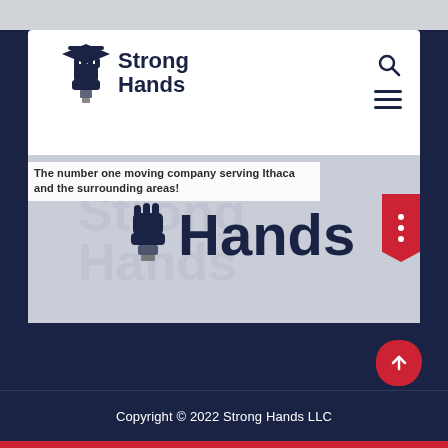[Figure (logo): Strong Hands LLC logo with hand/paintbrush icon and bold text 'Strong Hands']
The number one moving company serving Ithaca and the surrounding areas!
[Figure (logo): Strong Hands hero banner with large watermark text and logo]
Copyright © 2022 Strong Hands LLC